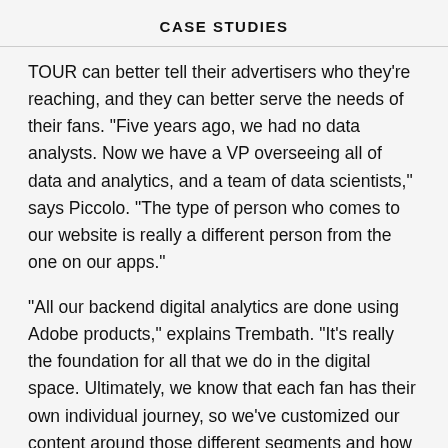CASE STUDIES
TOUR can better tell their advertisers who they're reaching, and they can better serve the needs of their fans. "Five years ago, we had no data analysts. Now we have a VP overseeing all of data and analytics, and a team of data scientists," says Piccolo. "The type of person who comes to our website is really a different person from the one on our apps."
“All our backend digital analytics are done using Adobe products,” explains Trembath. “It’s really the foundation for all that we do in the digital space. Ultimately, we know that each fan has their own individual journey, so we’ve customized our content around those different segments and how they engage with the sport.” A fan who loves to play golf might be enticed with an offer to play at a world-class PGA TOUR course. A casual viewer might get a push notification that their favorite player is